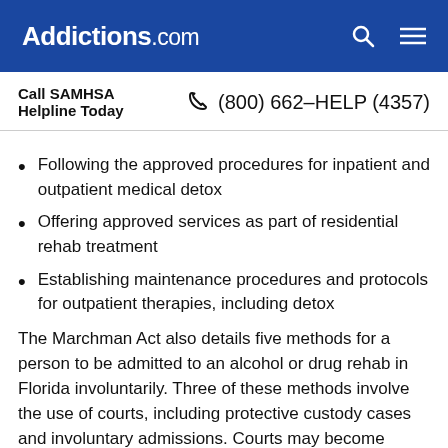Addictions.com
Call SAMHSA Helpline Today   (800) 662-HELP (4357)
Following the approved procedures for inpatient and outpatient medical detox
Offering approved services as part of residential rehab treatment
Establishing maintenance procedures and protocols for outpatient therapies, including detox
The Marchman Act also details five methods for a person to be admitted to an alcohol or drug rehab in Florida involuntarily. Three of these methods involve the use of courts, including protective custody cases and involuntary admissions. Courts may become involved when an emergency admission is deemed